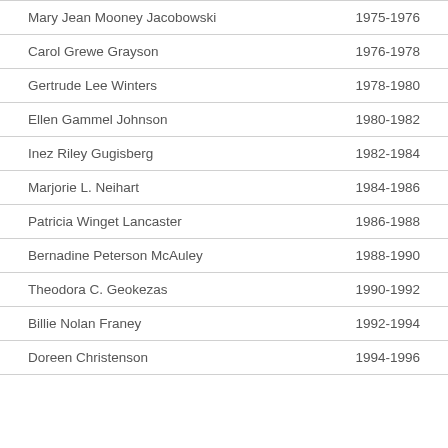| Name | Years |
| --- | --- |
| Mary Jean Mooney Jacobowski | 1975-1976 |
| Carol Grewe Grayson | 1976-1978 |
| Gertrude Lee Winters | 1978-1980 |
| Ellen Gammel Johnson | 1980-1982 |
| Inez Riley Gugisberg | 1982-1984 |
| Marjorie L. Neihart | 1984-1986 |
| Patricia Winget Lancaster | 1986-1988 |
| Bernadine Peterson McAuley | 1988-1990 |
| Theodora C. Geokezas | 1990-1992 |
| Billie Nolan Franey | 1992-1994 |
| Doreen Christenson | 1994-1996 |